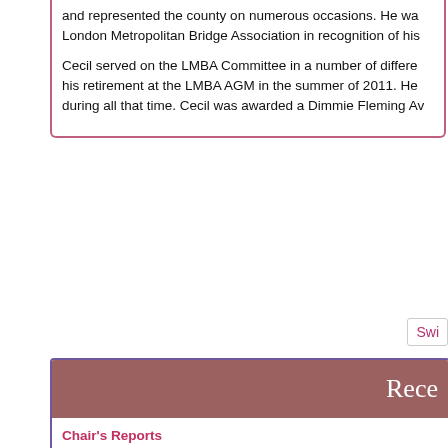and represented the county on numerous occasions. He was awarded by London Metropolitan Bridge Association in recognition of his
Cecil served on the LMBA Committee in a number of different roles until his retirement at the LMBA AGM in the summer of 2011. He during all that time. Cecil was awarded a Dimmie Fleming Av
Swi
Rece
Chair's Reports
4th Sep 2022 09:14 BST
0  0  Pa
R
Welcome to London M